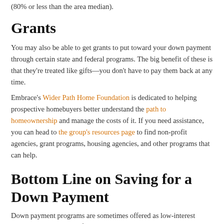(80% or less than the area median).
Grants
You may also be able to get grants to put toward your down payment through certain state and federal programs. The big benefit of these is that they're treated like gifts—you don't have to pay them back at any time.
Embrace's Wider Path Home Foundation is dedicated to helping prospective homebuyers better understand the path to homeownership and manage the costs of it. If you need assistance, you can head to the group's resources page to find non-profit agencies, grant programs, housing agencies, and other programs that can help.
Bottom Line on Saving for a Down Payment
Down payment programs are sometimes offered as low-interest second mortgage loans, forgivable loans, or, in some cases, grants — meaning they won't need to be repaid at all. Make sure